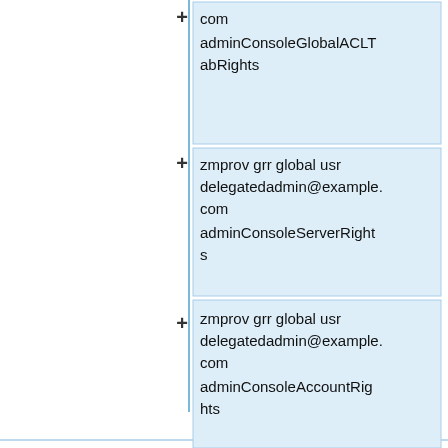[Figure (flowchart): A tree/flowchart diagram showing four command nodes connected by a vertical line with plus signs. The nodes contain: (1) 'com adminConsoleGlobalACLTabRights', (2) 'zmprov grr global usr delegatedadmin@example.com adminConsoleServerRights', (3) 'zmprov grr global usr delegatedadmin@example.com adminConsoleAccountRights', (4) 'zmprov grr global usr delegatedadmin@example.com adminConsoleZimletRights'. Each node is styled in a light blue box.]